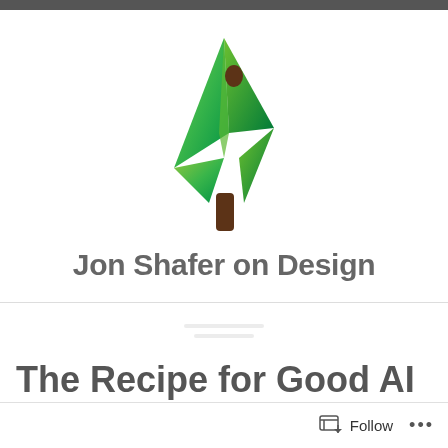[Figure (logo): Green stylized bird/arrow logo for Jon Shafer on Design blog]
Jon Shafer on Design
The Recipe for Good AI